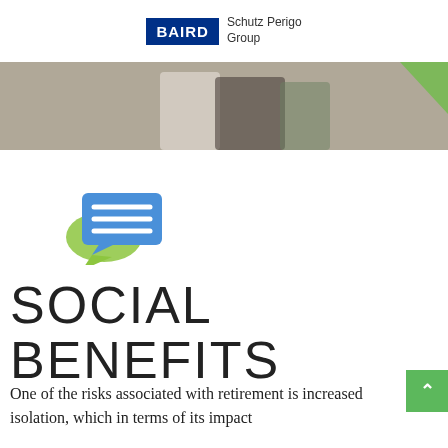BAIRD | Schutz Perigo Group
[Figure (photo): Photo banner of elderly couple holding hands, with green decorative triangle in top-right corner]
[Figure (illustration): Blue speech bubble icon with horizontal lines, overlapping a green leaf/speech bubble shape]
SOCIAL BENEFITS
One of the risks associated with retirement is increased isolation, which in terms of its impact